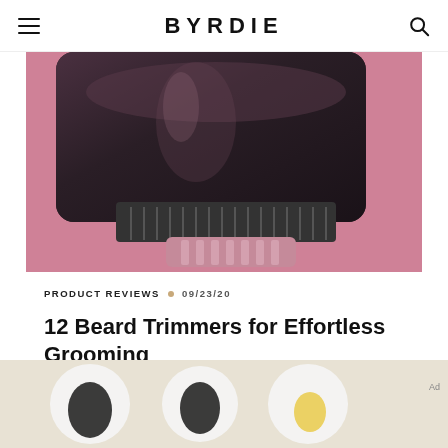BYRDIE
[Figure (photo): Close-up of a dark/black beard trimmer on a pink background, showing the blade and guard attachment.]
PRODUCT REVIEWS • 09/23/20
12 Beard Trimmers for Effortless Grooming
[Figure (photo): Bottom strip showing partial view of grooming product items on a cream/beige background. Ad label visible.]